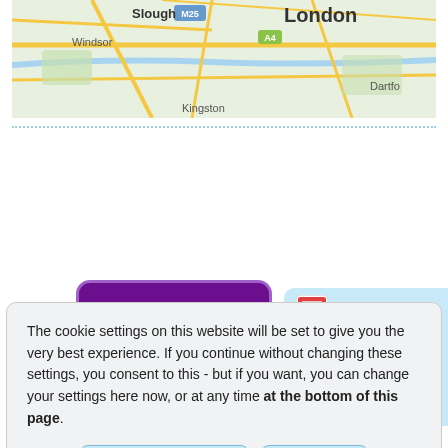[Figure (map): Partial map showing London area with Slough, M25, Windsor, A4, Kingston, Dartford labels and road network]
[Figure (infographic): Stevenage purple tile card with white bold text 'Stevenage' alongside a light blue info panel showing icons and labels: Ongoing, Stevenage, Disabled Access]
The cookie settings on this website will be set to give you the very best experience. If you continue without changing these settings, you consent to this - but if you want, you can change your settings here now, or at any time at the bottom of this page.
Change Settings  Dismiss
Read more about our cookie policy